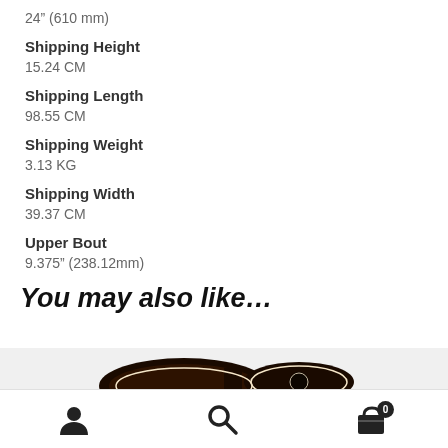24" (610 mm)
Shipping Height
15.24 CM
Shipping Length
98.55 CM
Shipping Weight
3.13 KG
Shipping Width
39.37 CM
Upper Bout
9.375" (238.12mm)
You may also like…
[Figure (photo): Bottom portion of a guitar product image shown in a 'You may also like' section]
Navigation bar with user icon, search icon, and cart icon (0 items)